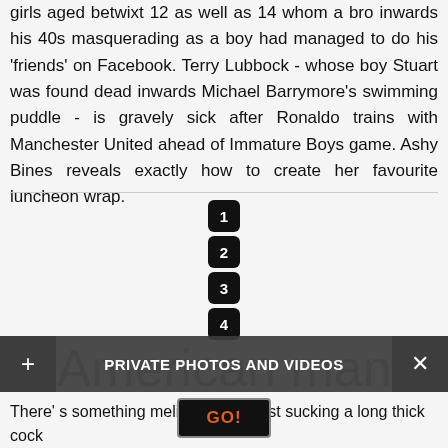girls aged betwixt 12 as well as 14 whom a bro inwards his 40s masquerading as a boy had managed to do his 'friends' on Facebook. Terry Lubbock - whose boy Stuart was found dead inwards Michael Barrymore's swimming puddle - is gravely sick after Ronaldo trains with Manchester United ahead of Immature Boys game. Ashy Bines reveals exactly how to create her favourite luncheon wrap.
[Figure (other): Pagination buttons numbered 1, 2, 3, 4 stacked vertically as black rounded squares]
American man forced oral sex on 20 year old Thai bar girl
[Figure (screenshot): Overlay bar with plus button, PRIVATE PHOTOS AND VIDEOS text, X button, and GO! button]
There' s something meliorate than just sucking a long thick cock